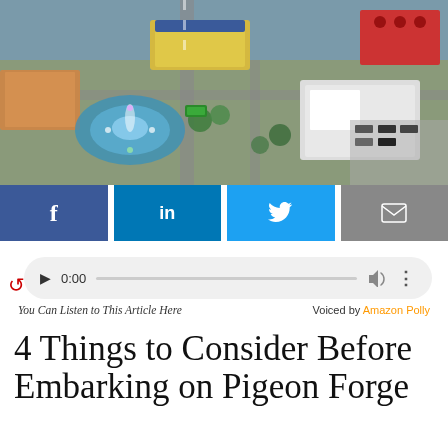[Figure (photo): Aerial view of Pigeon Forge city area with a fountain, buildings, parking lots, roads, and colorful structures including a red barn-like building.]
[Figure (infographic): Social media sharing buttons: Facebook (f), LinkedIn (in), Twitter (bird icon), Email (envelope icon)]
[Figure (infographic): Audio player widget showing play button, time 0:00, progress bar, volume icon, and more options icon. Red curved arrow on left side.]
You Can Listen to This Article Here        Voiced by Amazon Polly
4 Things to Consider Before Embarking on Pigeon Forge